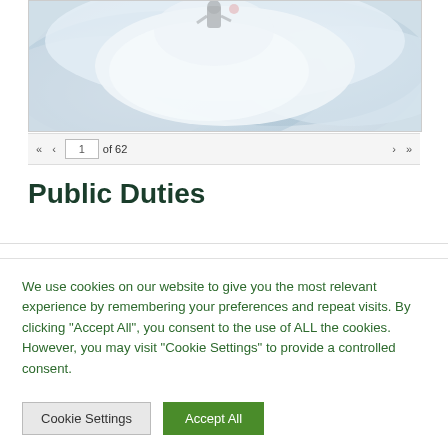[Figure (photo): A figure obscured by thick white/grey smoke or fog, person barely visible in dark clothing at top center of image]
« ‹   1   of 62   › »
Public Duties
We use cookies on our website to give you the most relevant experience by remembering your preferences and repeat visits. By clicking "Accept All", you consent to the use of ALL the cookies. However, you may visit "Cookie Settings" to provide a controlled consent.